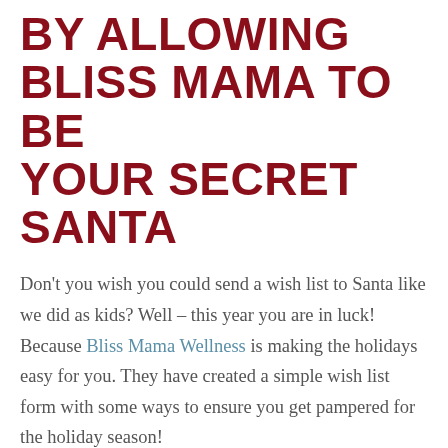BY ALLOWING BLISS MAMA TO BE YOUR SECRET SANTA
Don't you wish you could send a wish list to Santa like we did as kids? Well – this year you are in luck! Because Bliss Mama Wellness is making the holidays easy for you. They have created a simple wish list form with some ways to ensure you get pampered for the holiday season!
BLISS MAMA WELLNESS HAS TONS OF GREAT SPA SERVICES ON SALE: